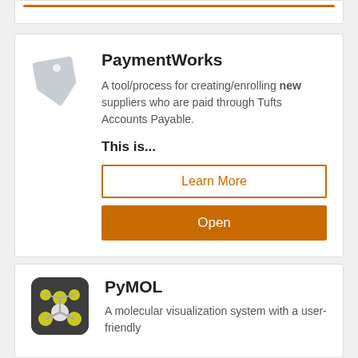[Figure (other): Top card partial strip with orange line visible at top of page]
PaymentWorks
A tool/process for creating/enrolling new suppliers who are paid through Tufts Accounts Payable.
This is...
Learn More
Open
PyMOL
A molecular visualization system with a user-friendly